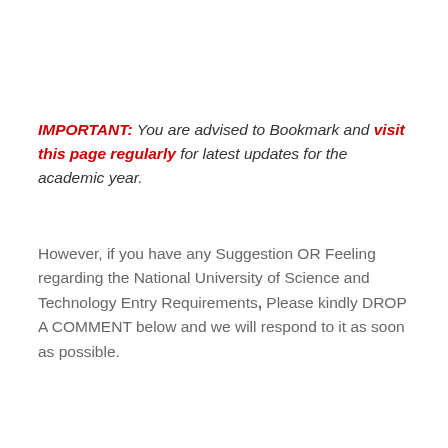IMPORTANT: You are advised to Bookmark and visit this page regularly for latest updates for the academic year.
However, if you have any Suggestion OR Feeling regarding the National University of Science and Technology Entry Requirements, Please kindly DROP A COMMENT below and we will respond to it as soon as possible.